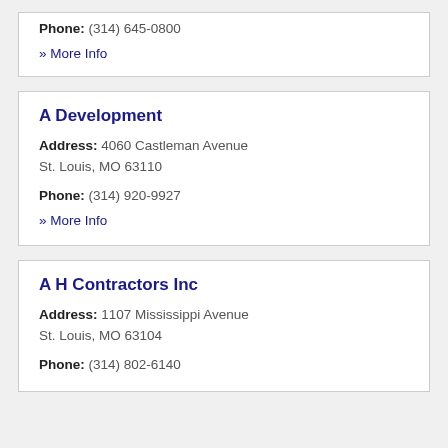Phone: (314) 645-0800
» More Info
A Development
Address: 4060 Castleman Avenue St. Louis, MO 63110
Phone: (314) 920-9927
» More Info
A H Contractors Inc
Address: 1107 Mississippi Avenue St. Louis, MO 63104
Phone: (314) 802-6140